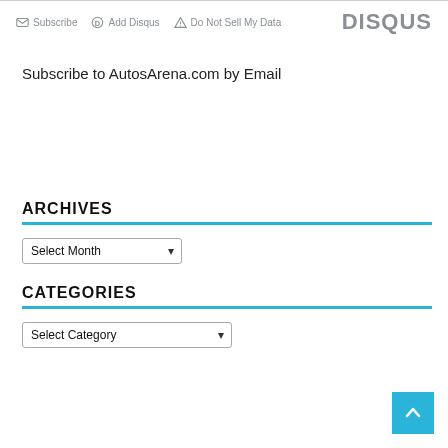Subscribe | Add Disqus | Do Not Sell My Data | DISQUS
Subscribe to AutosArena.com by Email
ARCHIVES
Select Month
CATEGORIES
Select Category